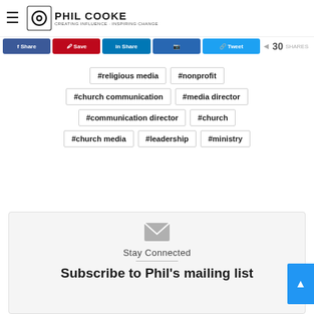Phil Cooke — Creating Influence · Inspiring Change
#religious media
#nonprofit
#church communication
#media director
#communication director
#church
#church media
#leadership
#ministry
Stay Connected
Subscribe to Phil's mailing list